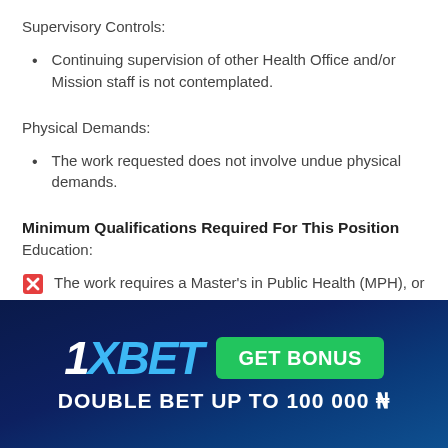Supervisory Controls:
Continuing supervision of other Health Office and/or Mission staff is not contemplated.
Physical Demands:
The work requested does not involve undue physical demands.
Minimum Qualifications Required For This Position
Education:
The work requires a Master's in Public Health (MPH), or Master's in Nursing degree, or a degree as a Public Health ...
[Figure (infographic): 1XBET advertisement banner: GET BONUS, DOUBLE BET UP TO 100 000 ₦]